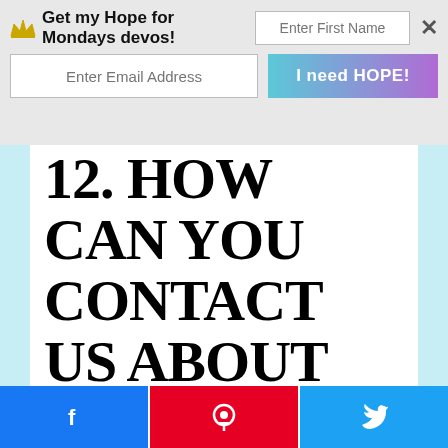Get my Hope for Mondays devos! [Enter First Name] [Enter Email Address] [I need HOPE!]
12. HOW CAN YOU CONTACT US ABOUT THIS POLICY?
If you have questions or comments about this policy, you may email us at colleneborchardt@gmail.com.
[Facebook share] [Pinterest share] [Twitter share]